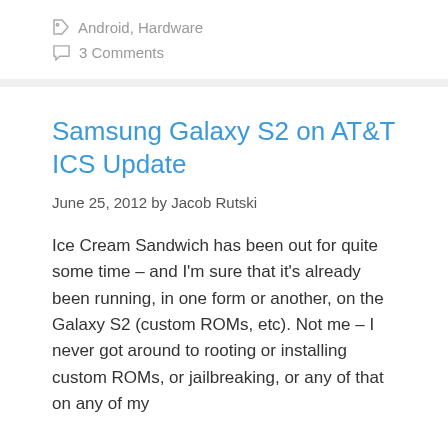Android, Hardware
3 Comments
Samsung Galaxy S2 on AT&T ICS Update
June 25, 2012 by Jacob Rutski
Ice Cream Sandwich has been out for quite some time – and I'm sure that it's already been running, in one form or another, on the Galaxy S2 (custom ROMs, etc). Not me – I never got around to rooting or installing custom ROMs, or jailbreaking, or any of that on any of my